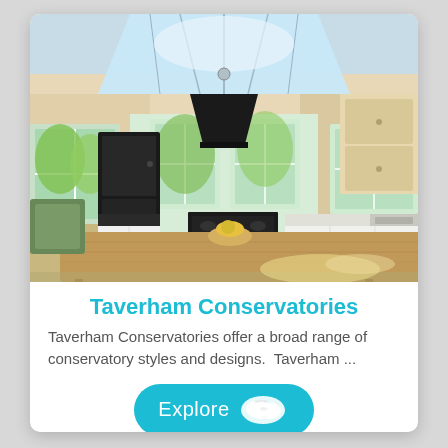[Figure (photo): Interior of a conservatory kitchen extension with large skylight roof lantern, black range cooker with extractor hood, black fridge-freezer, white fitted kitchen units, wooden kitchen island/table in foreground, bright natural light from windows and roof glazing.]
Taverham Conservatories
Taverham Conservatories offer a broad range of conservatory styles and designs.  Taverham ...
Explore